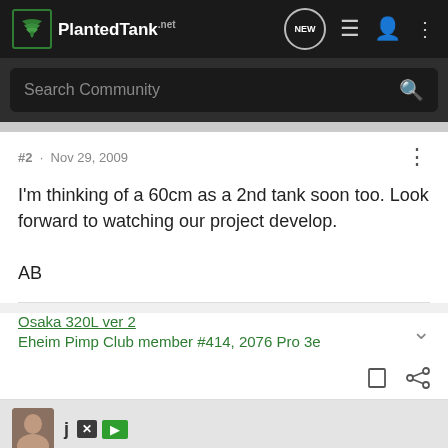PlantedTank
#2 · Nov 29, 2009
I'm thinking of a 60cm as a 2nd tank soon too. Look forward to watching our project develop.

AB
Osaka 320L ver 2
Eheim Pimp Club member #414, 2076 Pro 3e